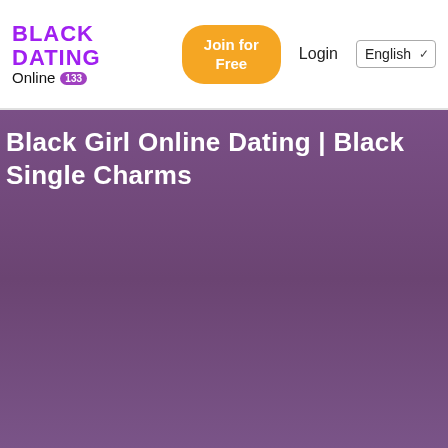BLACK DATING Online 133 | Join for Free | Login | English
Black Girl Online Dating | Black Single Charms